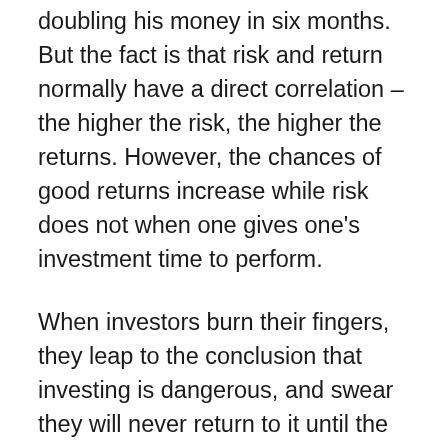doubling his money in six months. But the fact is that risk and return normally have a direct correlation – the higher the risk, the higher the returns. However, the chances of good returns increase while risk does not when one gives one's investment time to perform.
When investors burn their fingers, they leap to the conclusion that investing is dangerous, and swear they will never return to it until the next fad comes along. Drifting from one investment to another without any strategy will not help anyone reach their long-term goals. It amounts to digging in too many places for water.
If there's no strategy for achieving goals, it may never happen. Many simply chase money. But that money